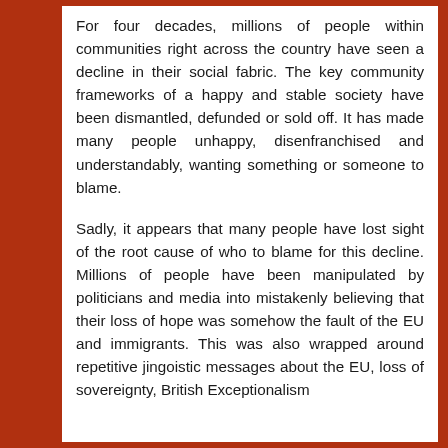For four decades, millions of people within communities right across the country have seen a decline in their social fabric. The key community frameworks of a happy and stable society have been dismantled, defunded or sold off. It has made many people unhappy, disenfranchised and understandably, wanting something or someone to blame.
Sadly, it appears that many people have lost sight of the root cause of who to blame for this decline. Millions of people have been manipulated by politicians and media into mistakenly believing that their loss of hope was somehow the fault of the EU and immigrants. This was also wrapped around repetitive jingoistic messages about the EU, loss of sovereignty, British Exceptionalism...